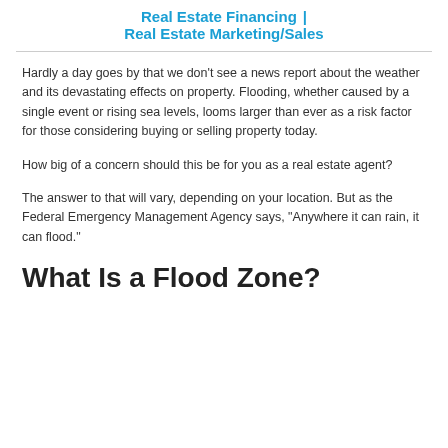Real Estate Financing | Real Estate Marketing/Sales
Hardly a day goes by that we don’t see a news report about the weather and its devastating effects on property. Flooding, whether caused by a single event or rising sea levels, looms larger than ever as a risk factor for those considering buying or selling property today.
How big of a concern should this be for you as a real estate agent?
The answer to that will vary, depending on your location. But as the Federal Emergency Management Agency says, “Anywhere it can rain, it can flood.”
What Is a Flood Zone?